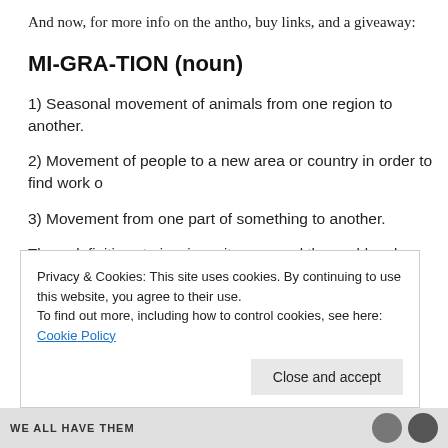And now, for more info on the antho, buy links, and a giveaway:
MI-GRA-TION (noun)
1) Seasonal movement of animals from one region to another.
2) Movement of people to a new area or country in order to find work o
3) Movement from one part of something to another.
Three definitions to inspire writers around the world and an unlimited n to tell. Here are 120 of our favorites.
Migration feaures 300 word speculative flash fiction stories from acros from the minds of the writers of Queer Sci Fi.
Privacy & Cookies: This site uses cookies. By continuing to use this website, you agree to their use. To find out more, including how to control cookies, see here: Cookie Policy
Close and accept